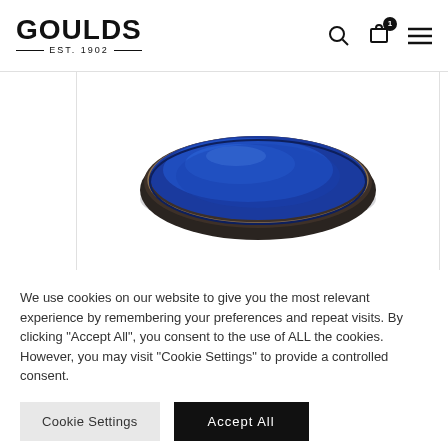GOULDS EST. 1902
[Figure (photo): A blue ceramic plate/dish with a dark rim, photographed from a slight angle above, showing a deep cobalt blue glaze with subtle texture. Displayed on a white background within a bordered product frame.]
We use cookies on our website to give you the most relevant experience by remembering your preferences and repeat visits. By clicking "Accept All", you consent to the use of ALL the cookies. However, you may visit "Cookie Settings" to provide a controlled consent.